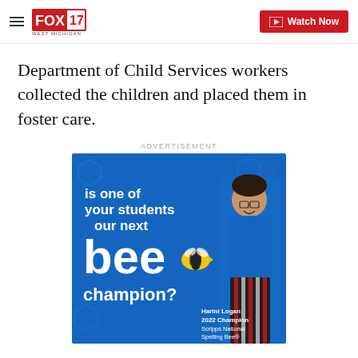FOX 17 West Michigan — Watch Now
Department of Child Services workers collected the children and placed them in foster care.
ADVERTISEMENT
[Figure (illustration): Scripps National Spelling Bee advertisement on blue background showing text 'is one of your students our next bee champion?' with a smiling young woman and a bee mascot. Credits: Harini Logan, 2022 Champion, Scripps National Spelling Bee®]